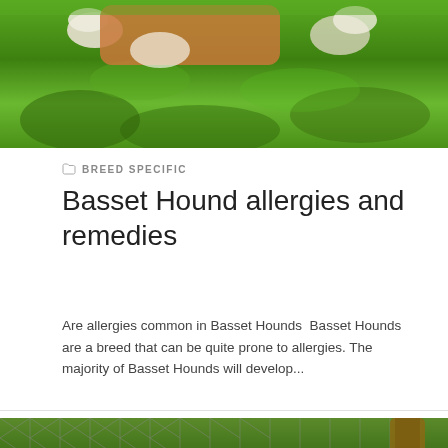[Figure (photo): A dog lying in green grass, seen from above, partially cropped at top of page]
BREED SPECIFIC
Basset Hound allergies and remedies
Are allergies common in Basset Hounds  Basset Hounds are a breed that can be quite prone to allergies. The majority of Basset Hounds will develop...
[Figure (photo): A white fluffy dog in front of a chain-link fence with a tree in the background, partially cropped at bottom of page]